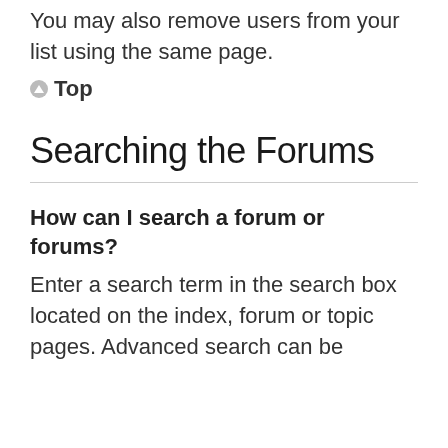You may also remove users from your list using the same page.
Top
Searching the Forums
How can I search a forum or forums?
Enter a search term in the search box located on the index, forum or topic pages. Advanced search can be